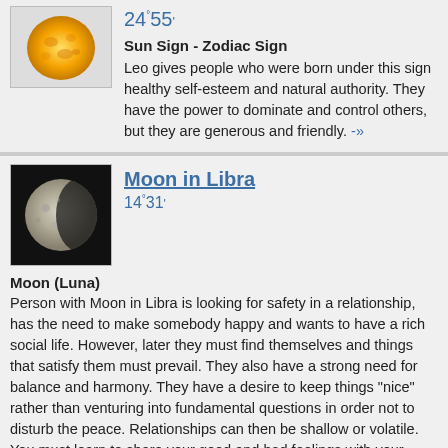24°55'
Sun Sign - Zodiac Sign
Leo gives people who were born under this sign healthy self-esteem and natural authority. They have the power to dominate and control others, but they are generous and friendly. -»
Moon in Libra
14°31'
Moon (Luna)
Person with Moon in Libra is looking for safety in a relationship, has the need to make somebody happy and wants to have a rich social life. However, later they must find themselves and things that satisfy them must prevail. They also have a strong need for balance and harmony. They have a desire to keep things "nice" rather than venturing into fundamental questions in order not to disturb the peace. Relationships can then be shallow or volatile. You must learn to share your good and bad feelings with your partner. Do not be afraid to be who you really are, despite what is expected of you. Use your innate talent to make things pleasant. You can influence the atmosphere around you with your pleasant voice, musical abilities and your comforting presence.